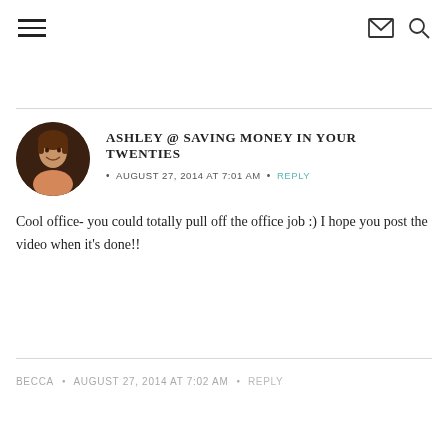Navigation bar with hamburger menu, email icon, and search icon
ASHLEY @ SAVING MONEY IN YOUR TWENTIES
AUGUST 27, 2014 AT 7:01 AM • REPLY
Cool office- you could totally pull off the office job :) I hope you post the video when it's done!!
BECCA • AUGUST 27, 2014 AT 7:02 AM • REPLY